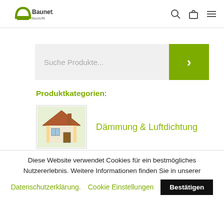[Figure (logo): Baunetz Baustoffe logo with green arch and text]
Suche Produkte...
Produktkategorien:
[Figure (illustration): House cross-section illustration for Dämmung & Luftdichtung category]
Dämmung & Luftdichtung
[Figure (photo): Sheep in a field for Schafwolle category]
Schafwolle
Diese Website verwendet Cookies für ein bestmögliches Nutzererlebnis. Weitere Informationen finden Sie in unserer
Datenschutzerklärung. Cookie Einstellungen Bestätigen